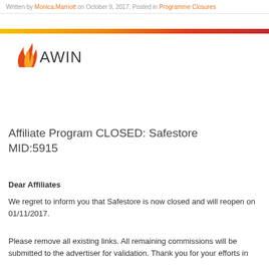Written by Monica.Marriott on October 9, 2017. Posted in Programme Closures
[Figure (illustration): Horizontal gradient bar from yellow-orange on the left to deep red on the right]
[Figure (logo): AWIN logo with flame icon in red and orange, text AWIN in dark grey]
Affiliate Program CLOSED: Safestore MID:5915
Dear Affiliates
We regret to inform you that Safestore is now closed and will reopen on 01/11/2017.
Please remove all existing links. All remaining commissions will be submitted to the advertiser for validation. Thank you for your efforts in